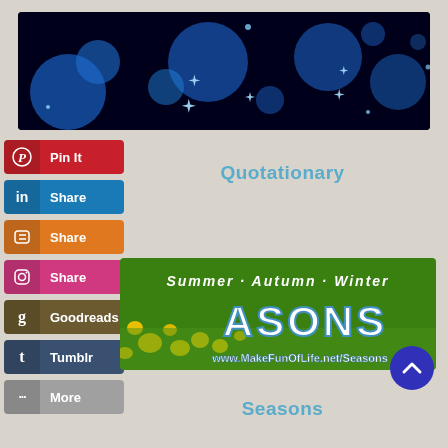[Figure (illustration): Dark blue/black background with glowing blue bokeh circles and sparkle star effects — decorative website banner header]
[Figure (illustration): Social sharing buttons: Pinterest (Pin It, red), LinkedIn (Share, blue), Blogger (Share, orange), Instagram (Share, pink), Goodreads (Goodreads, brown), Tumblr (Tumblr, dark blue), More (More, gray)]
Quotationary
[Figure (illustration): Seasons banner with yellow flowers on green grass background, text: Summer · Autumn · Winter, ASONS, www.MakeFunOfLife.net/Seasons]
Seasons